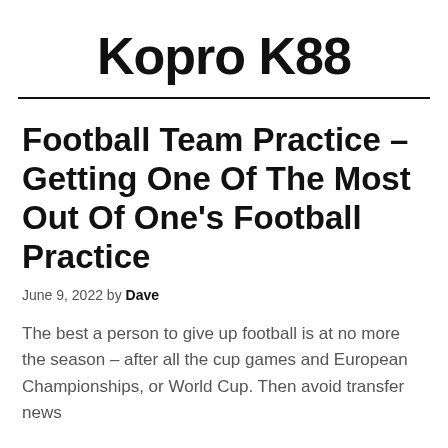Kopro K88
Football Team Practice – Getting One Of The Most Out Of One's Football Practice
June 9, 2022 by Dave
The best a person to give up football is at no more the season – after all the cup games and European Championships, or World Cup. Then avoid transfer news